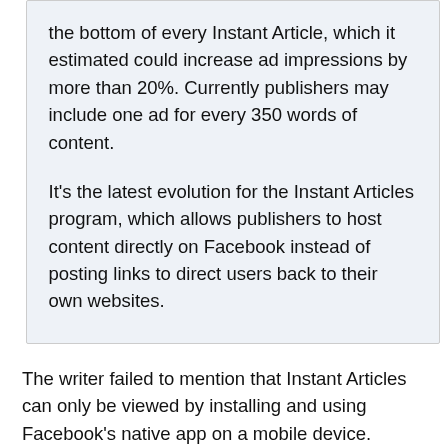the bottom of every Instant Article, which it estimated could increase ad impressions by more than 20%. Currently publishers may include one ad for every 350 words of content.
It's the latest evolution for the Instant Articles program, which allows publishers to host content directly on Facebook instead of posting links to direct users back to their own websites.
The writer failed to mention that Instant Articles can only be viewed by installing and using Facebook's native app on a mobile device.